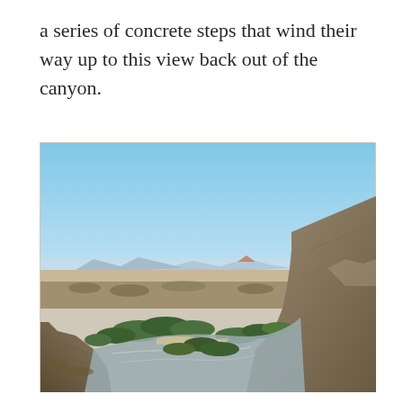a series of concrete steps that wind their way up to this view back out of the canyon.
[Figure (photo): Aerial view from canyon rim showing a winding river (Rio Grande) curving through an arid desert landscape with rocky canyon walls on the right, green riparian vegetation along the riverbanks, sandy riverbed, flat desert plains extending to distant mountains under a clear blue sky.]